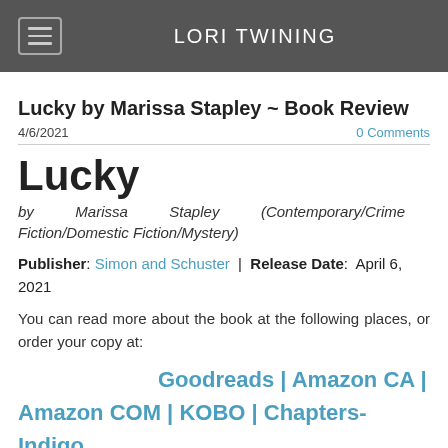LORI TWINING
Lucky by Marissa Stapley ~ Book Review
4/6/2021
0 Comments
Lucky
by Marissa Stapley (Contemporary/Crime Fiction/Domestic Fiction/Mystery)
Publisher: Simon and Schuster | Release Date: April 6, 2021
You can read more about the book at the following places, or order your copy at:
Goodreads | Amazon CA | Amazon COM | KOBO | Chapters-Indigo
Review